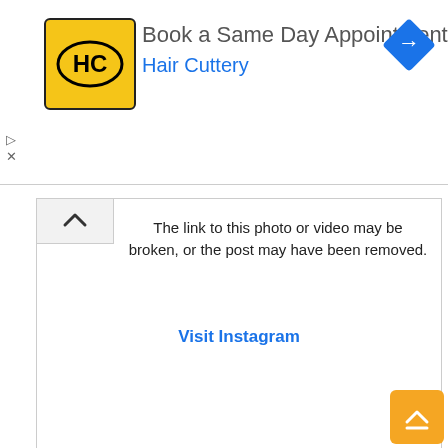[Figure (screenshot): Hair Cuttery advertisement banner: yellow square logo with HC text, headline 'Book a Same Day Appointment', subtext 'Hair Cuttery' in blue, blue diamond navigation icon on right, ad controls (play and close icons) on left]
[Figure (screenshot): Instagram embedded post placeholder: chevron up icon on left, message 'The link to this photo or video may be broken, or the post may have been removed.' with 'Visit Instagram' link in blue]
“I didn’t think this (expletive) was real,” 50 wrote on Instagram. “It sounded so crazy @theestallion i’m glad your (sic) feeling better and i hope you can accept my apology. I posted a meme that was floating around. I wouldn’t have done that if i knew you was really hurt sorry.”